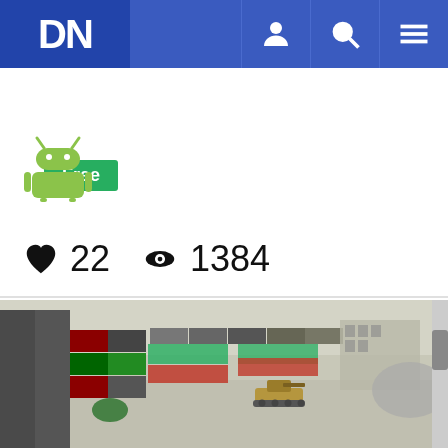DN
Free
[Figure (logo): Android robot logo in green]
22  1384
CATEGORIES
Action , Adventure
TAGS
3D , Shooter , War
[Figure (screenshot): 3D war game screenshot showing tanks and shipping containers in a military environment]